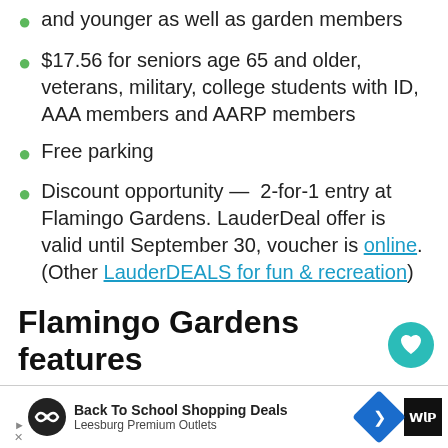and younger as well as garden members
$17.56 for seniors age 65 and older, veterans, military, college students with ID, AAA members and AARP members
Free parking
Discount opportunity — 2-for-1 entry at Flamingo Gardens. LauderDeal offer is valid until September 30, voucher is online. (Other LauderDEALS for fun & recreation)
Flamingo Gardens features
The botanical gardens showcase more than 3,000 species of rare and exotic, tropical, subtropical native plants, according to the website. Flamingo Gardens includes:
[Figure (screenshot): What's Next promotional overlay with thumbnail image showing a sunset, text reading 'WHAT'S NEXT → Best free & cheap thing...']
[Figure (screenshot): Advertisement bar: Back To School Shopping Deals - Leesburg Premium Outlets, with navigation icons]